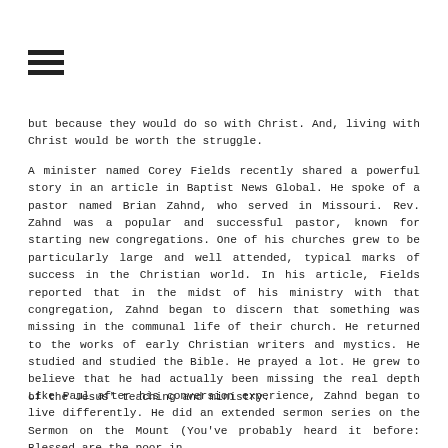[Figure (other): Hamburger menu icon with three horizontal lines]
but because they would do so with Christ. And, living with Christ would be worth the struggle.
A minister named Corey Fields recently shared a powerful story in an article in Baptist News Global. He spoke of a pastor named Brian Zahnd, who served in Missouri. Rev. Zahnd was a popular and successful pastor, known for starting new congregations. One of his churches grew to be particularly large and well attended, typical marks of success in the Christian world. In his article, Fields reported that in the midst of his ministry with that congregation, Zahnd began to discern that something was missing in the communal life of their church. He returned to the works of early Christian writers and mystics. He studied and studied the Bible. He prayed a lot. He grew to believe that he had actually been missing the real depth of the Jesus' teaching and ministry.
Like Paul after his conversion experience, Zahnd began to live differently. He did an extended sermon series on the Sermon on the Mount (You've probably heard it before: Blessed are the poor in